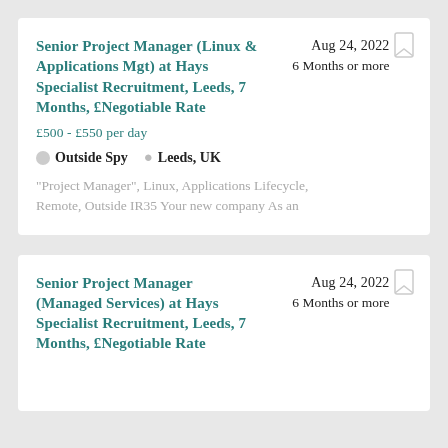Senior Project Manager (Linux & Applications Mgt) at Hays Specialist Recruitment, Leeds, 7 Months, £Negotiable Rate
Aug 24, 2022
6 Months or more
£500 - £550 per day
Outside Spy   Leeds, UK
"Project Manager", Linux, Applications Lifecycle, Remote, Outside IR35 Your new company As an
Senior Project Manager (Managed Services) at Hays Specialist Recruitment, Leeds, 7 Months, £Negotiable Rate
Aug 24, 2022
6 Months or more